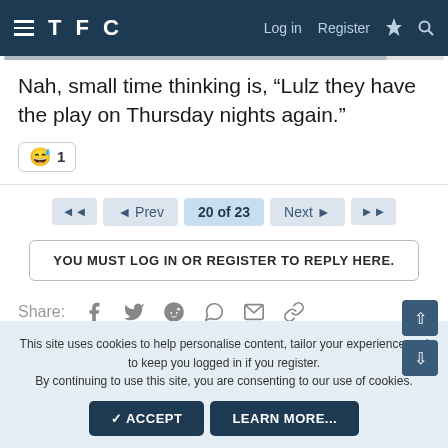TFC — Log in  Register
Nah, small time thinking is, “Lulz they have the play on Thursday nights again.”
😅 1
◄◄  ◄ Prev  20 of 23  Next ►  ►►
YOU MUST LOG IN OR REGISTER TO REPLY HERE.
Share:
This site uses cookies to help personalise content, tailor your experience and to keep you logged in if you register.
By continuing to use this site, you are consenting to our use of cookies.
✓ ACCEPT  LEARN MORE...